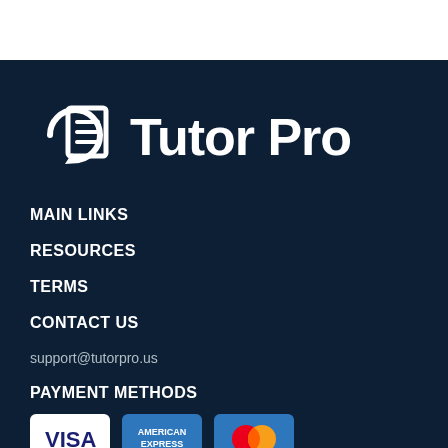[Figure (logo): Tutor Pro logo with document icon and bold text 'Tutor Pro']
MAIN LINKS
RESOURCES
TERMS
CONTACT US
support@tutorpro.us
PAYMENT METHODS
[Figure (other): Payment method icons: VISA, American Express, MasterCard]